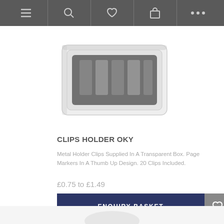Navigation bar with menu, search, wishlist, cart, more icons
[Figure (photo): Product photo of Clips Holder OKY — metal page marker clips in a transparent plastic box, viewed from a slight angle]
CLIPS HOLDER OKY
Metal Holder Clips Supplied In A Transparent Box. Page Markers In A Thumb Up Design. 20 Clips Included.
£0.75 to £1.49
ENQUIRY BASKET
[Figure (photo): Partial view of another product at the bottom of the page]